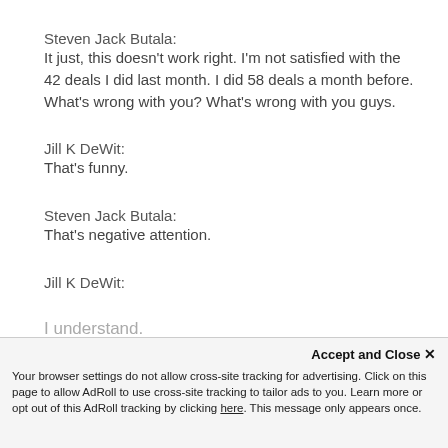Steven Jack Butala:
It just, this doesn't work right. I'm not satisfied with the 42 deals I did last month. I did 58 deals a month before. What's wrong with you? What's wrong with you guys.
Jill K DeWit:
That's funny.
Steven Jack Butala:
That's negative attention.
Jill K DeWit:
I understand.
Accept and Close ✕
Your browser settings do not allow cross-site tracking for advertising. Click on this page to allow AdRoll to use cross-site tracking to tailor ads to you. Learn more or opt out of this AdRoll tracking by clicking here. This message only appears once.